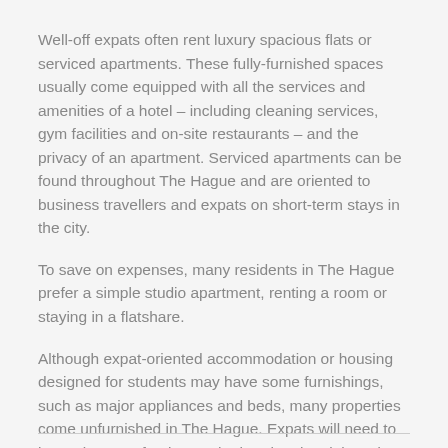Well-off expats often rent luxury spacious flats or serviced apartments. These fully-furnished spaces usually come equipped with all the services and amenities of a hotel – including cleaning services, gym facilities and on-site restaurants – and the privacy of an apartment. Serviced apartments can be found throughout The Hague and are oriented to business travellers and expats on short-term stays in the city.
To save on expenses, many residents in The Hague prefer a simple studio apartment, renting a room or staying in a flatshare.
Although expat-oriented accommodation or housing designed for students may have some furnishings, such as major appliances and beds, many properties come unfurnished in The Hague. Expats will need to invest in some furniture, whether they buy it brand new or second-hand, to make their space feel like home.